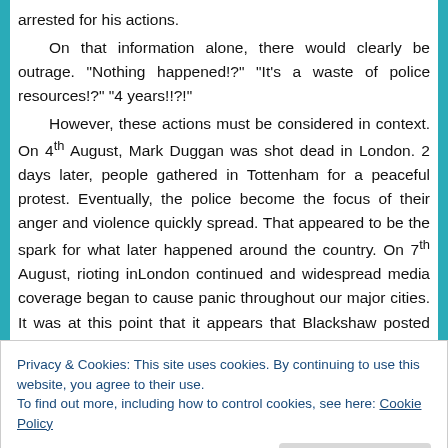arrested for his actions.

On that information alone, there would clearly be outrage. “Nothing happened!?” “It’s a waste of police resources!?” “4 years!!?!”

However, these actions must be considered in context. On 4th August, Mark Duggan was shot dead in London. 2 days later, people gathered in Tottenham for a peaceful protest. Eventually, the police become the focus of their anger and violence quickly spread. That appeared to be the spark for what later happened around the country. On 7th August, rioting inLondon continued and widespread media coverage began to cause panic throughout our major cities. It was at this point that it appears that Blackshaw posted about the...
Privacy & Cookies: This site uses cookies. By continuing to use this website, you agree to their use.
To find out more, including how to control cookies, see here: Cookie Policy
The following day, with rioting in